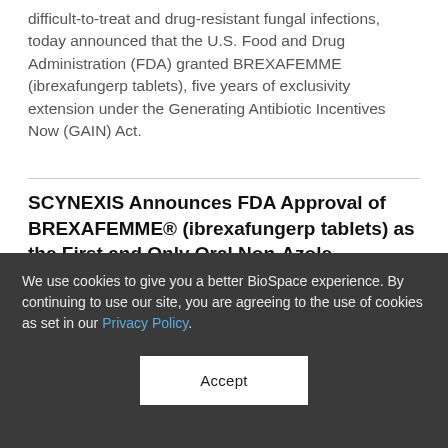difficult-to-treat and drug-resistant fungal infections, today announced that the U.S. Food and Drug Administration (FDA) granted BREXAFEMME (ibrexafungerp tablets), five years of exclusivity extension under the Generating Antibiotic Incentives Now (GAIN) Act.
SCYNEXIS Announces FDA Approval of BREXAFEMME® (ibrexafungerp tablets) as the First and Only Oral Non-Azole Treatment for Vaginal Yeast Infections
6/2/2021
We use cookies to give you a better BioSpace experience. By continuing to use our site, you are agreeing to the use of cookies as set in our Privacy Policy.